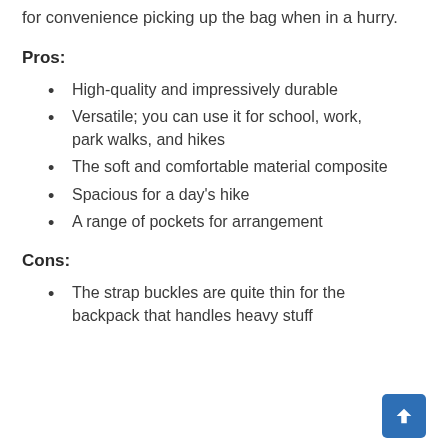for convenience picking up the bag when in a hurry.
Pros:
High-quality and impressively durable
Versatile; you can use it for school, work, park walks, and hikes
The soft and comfortable material composite
Spacious for a day's hike
A range of pockets for arrangement
Cons:
The strap buckles are quite thin for the backpack that handles heavy stuff